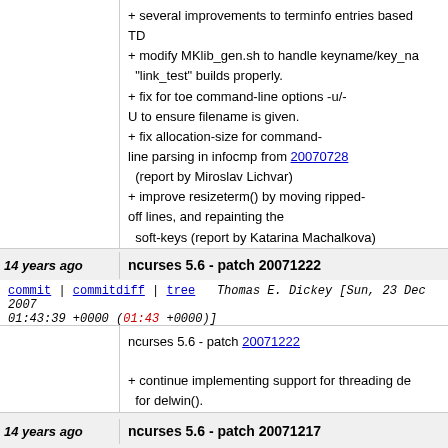+ several improvements to terminfo entries based TD
+ modify MKlib_gen.sh to handle keyname/key_na "link_test" builds properly.
+ fix for toe command-line options -u/- U to ensure filename is given.
+ fix allocation-size for command- line parsing in infocmp from 20070728 (report by Miroslav Lichvar)
+ improve resizeterm() by moving ripped- off lines, and repainting the soft-keys (report by Katarina Machalkova)
+ add clarification in wclear's manpage noting that cleared even if a subwindow is cleared (prompte question).
+ change test/ncurses.c soft- key tests to work with KEY_RESIZE.
14 years ago
ncurses 5.6 - patch 20071222
commit | commitdiff | tree
Thomas E. Dickey [Sun, 23 Dec 2007 01:43:39 +0000 (01:43 +0000)]
ncurses 5.6 - patch 20071222
+ continue implementing support for threading de for delwin().
14 years ago
ncurses 5.6 - patch 20071217